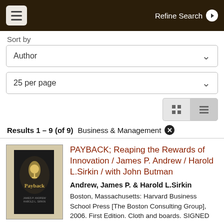Refine Search
Sort by
Author
25 per page
Results 1 – 9 (of 9)  Business & Management
[Figure (photo): Book cover of Payback by James P. Andrew and Harold L. Sirkin]
PAYBACK; Reaping the Rewards of Innovation / James P. Andrew / Harold L.Sirkin / with John Butman
Andrew, James P. & Harold L.Sirkin
Boston, Massachusetts: Harvard Business School Press [The Boston Consulting Group], 2006. First Edition. Cloth and boards. SIGNED